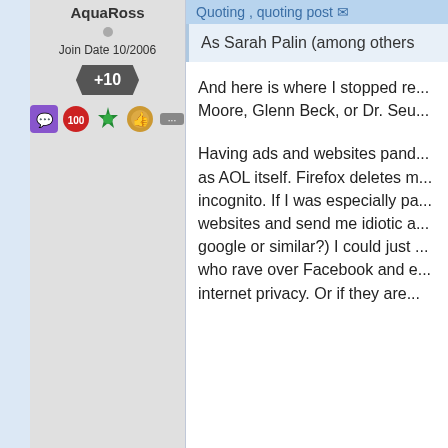AquaRoss
Join Date 10/2006
+10
Quoting , quoting post
As Sarah Palin (among others...
And here is where I stopped re... Moore, Glenn Beck, or Dr. Seu...
Having ads and websites pand... as AOL itself. Firefox deletes m... incognito. If I was especially pa... websites and send me idiotic a... google or similar?) I could just ... who rave over Facebook and e... internet privacy. Or if they are...